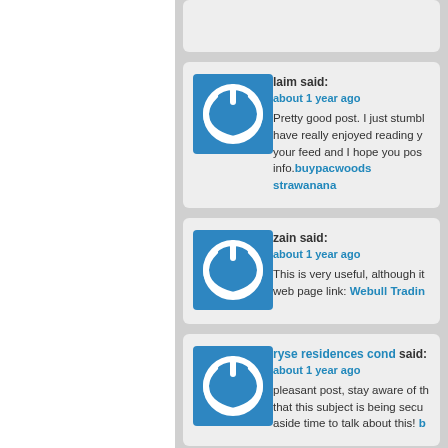[Figure (screenshot): Comment section of a blog or website showing user comments with power-button avatars]
laim said: about 1 year ago. Pretty good post. I just stumbled upon your blog and have really enjoyed reading your posts. I subscribed to your feed and I hope you post again soon. More power to you! info. buypacwoods strawanana
zain said: about 1 year ago. This is very useful, although it will be important to help with the web page link: Webull Trading
ryse residences cond said: about 1 year ago. pleasant post, stay aware of this interesting post. I decided to post a comment because I think that this subject is being secured well. I am sure someone will use it for his refer, Ill aside time to talk about this!